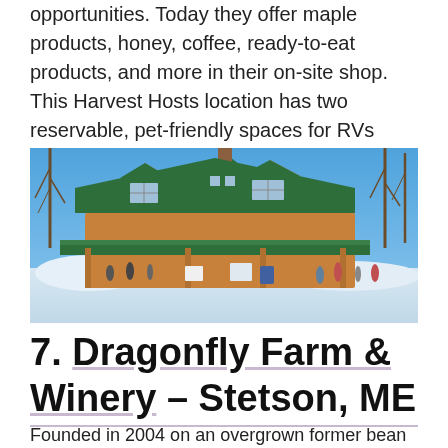opportunities. Today they offer maple products, honey, coffee, ready-to-eat products, and more in their on-site shop. This Harvest Hosts location has two reservable, pet-friendly spaces for RVs under 35’ in length.
[Figure (photo): Exterior photo of a log-style building with a green roof in winter. Snow is on the ground. Bare trees surround the building. Several people are visible outside near the entrance.]
7. Dragonfly Farm & Winery – Stetson, ME
Founded in 2004 on an overgrown former bean